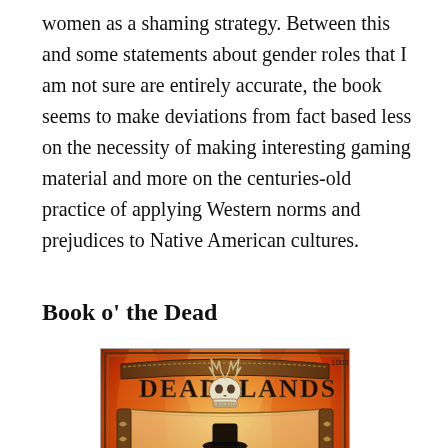women as a shaming strategy. Between this and some statements about gender roles that I am not sure are entirely accurate, the book seems to make deviations from fact based less on the necessity of making interesting gaming material and more on the centuries-old practice of applying Western norms and prejudices to Native American cultures.
Book o' the Dead
[Figure (photo): Cover of the Deadlands tabletop roleplaying game book. Orange/red fiery background with stylized arch banner reading 'DEAD LANDS' with a skull in the center top. A dark-cloaked figure wearing a wide-brimmed hat stands in the lower center. Number 1003 visible in upper right corner.]